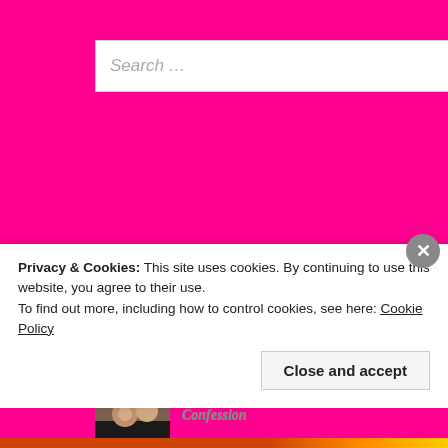[Figure (screenshot): Search box with placeholder text 'Search ...' on magenta background]
Recent Comments
[Figure (photo): Avatar photo of T.W. Alkner - couple photo]
T.W. Alkner on True Confession
[Figure (photo): Avatar photo of Elle - woman with cowboy hat]
Elle www.newcreatio... on True Confession
[Figure (photo): Avatar photo of T.W. Alkner - couple photo]
T.W. Alkner on An Ear Cuff and my Big Head
Privacy & Cookies: This site uses cookies. By continuing to use this website, you agree to their use.
To find out more, including how to control cookies, see here: Cookie Policy
Close and accept